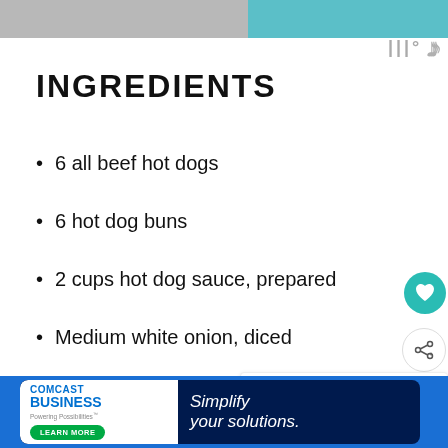[Figure (photo): Top portion of a recipe page image cropped — gray and teal banner strip at the top]
INGREDIENTS
6 all beef hot dogs
6 hot dog buns
2 cups hot dog sauce, prepared
Medium white onion, diced
1/2 cup cheddar cheese, finely shredded
[Figure (screenshot): Overlay UI elements: heart/save button, share button, What's Next panel showing Crescent Roll Hot Dog..., pencil and close icons]
[Figure (screenshot): Comcast Business advertisement banner at the bottom: Simplify your solutions. LEARN MORE button.]